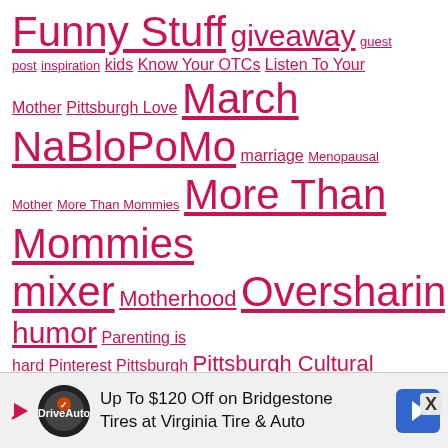Funny Stuff giveaway guest post inspiration kids Know Your OTCs Listen To Your Mother Pittsburgh Love March NaBloPoMo marriage Menopausal Mother More Than Mommies More Than Mommies mixer Motherhood Oversharing Parenting parenting humor Parenting is hard Pinterest Pittsburgh Pittsburgh Cultural Trust Project Optimism Questionable Choices in Parenting Same-sex marriage Scary Mommy sponsored post sponsored posts Sponsored Stuff teacher humor vlogging Walmart We Are Teachers writing
[Figure (other): Advertisement banner: Up To $120 Off on Bridgestone Tires at Virginia Tire & Auto]